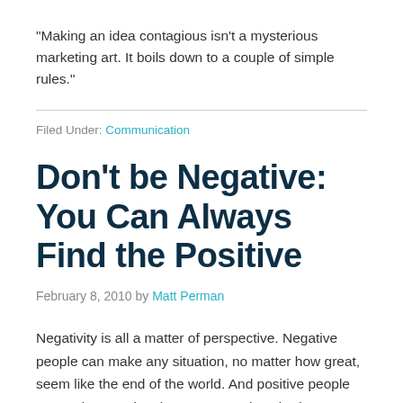“Making an idea contagious isn’t a mysterious marketing art. It boils down to a couple of simple rules.”
Filed Under: Communication
Don’t be Negative: You Can Always Find the Positive
February 8, 2010 by Matt Perman
Negativity is all a matter of perspective. Negative people can make any situation, no matter how great, seem like the end of the world. And positive people can make any situation, no matter how bad, seem great.